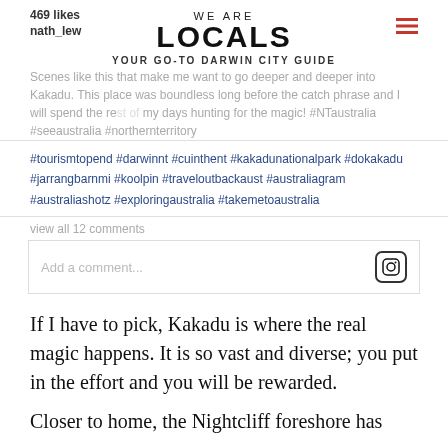WE ARE LOCALS — YOUR GO-TO DARWIN CITY GUIDE
469 likes
nath_lew
Scenes like this that make me want to go deeper and deeper into Kakadu. This place was boundless long before the catch phrase and I will spend the rest of my days hunting for the magic! #NTaustralia #seeaustralia #northernterritory
#tourismtopend #darwinnt #cuinthent #kakadunationalpark #dokakadu #jarrangbarnmi #koolpin #traveloutbackaust #australiagram #australiashotz #exploringaustralia #takemetoaustralia
view all 12 comments
Add a comment...
If I have to pick, Kakadu is where the real magic happens. It is so vast and diverse; you put in the effort and you will be rewarded.
Closer to home, the Nightcliff foreshore has